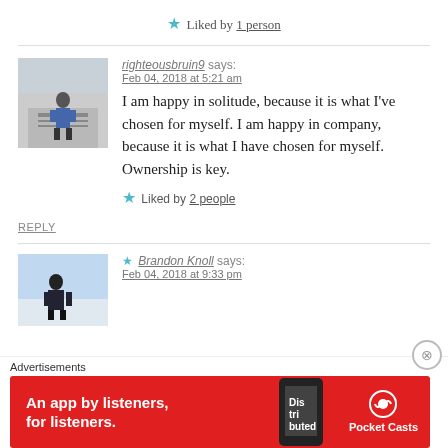★ Liked by 1 person
righteousbruin9 says:
Feb 04, 2018 at 5:21 am
I am happy in solitude, because it is what I've chosen for myself. I am happy in company, because it is what I have chosen for myself. Ownership is key.
★ Liked by 2 people
REPLY
★ Brandon Knoll says:
Feb 04, 2018 at 9:33 pm
Advertisements
[Figure (other): Pocket Casts advertisement banner: red background, text 'An app by listeners, for listeners.' with phone image and Pocket Casts logo]